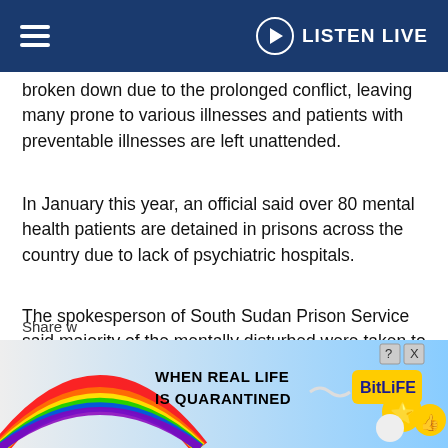LISTEN LIVE
broken down due to the prolonged conflict, leaving many prone to various illnesses and patients with preventable illnesses are left unattended.
In January this year, an official said over 80 mental health patients are detained in prisons across the country due to lack of psychiatric hospitals.
The spokesperson of South Sudan Prison Service said majority of the mentally disturbed were taken to the prison facilities by their families over fears they would cause harm in the communities.
[Figure (screenshot): Advertisement banner for BitLife mobile game with rainbow background text reading WHEN REAL LIFE IS QUARANTINED with BitLife logo and emoji characters]
Share w